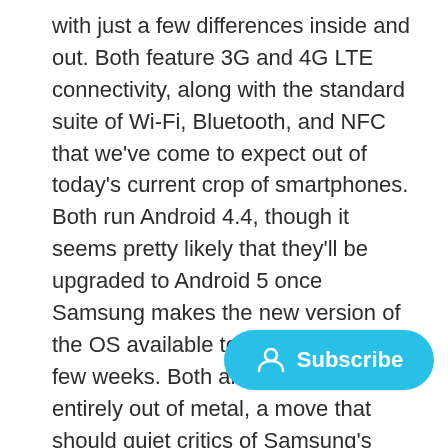with just a few differences inside and out. Both feature 3G and 4G LTE connectivity, along with the standard suite of Wi-Fi, Bluetooth, and NFC that we've come to expect out of today's current crop of smartphones. Both run Android 4.4, though it seems pretty likely that they'll be upgraded to Android 5 once Samsung makes the new version of the OS available to its customers in a few weeks. Both are also constructed entirely out of metal, a move that should quiet critics of Samsung's usual plastic-bodied smartphones. Both are super thin, measuring at 6.9mm and 6.7mm, respectively. For comparison's sake, the iPhone 6 is 7.1 mm and the iPhone 6 Plu
The A3 offers a 4.5-inch super AMOLED